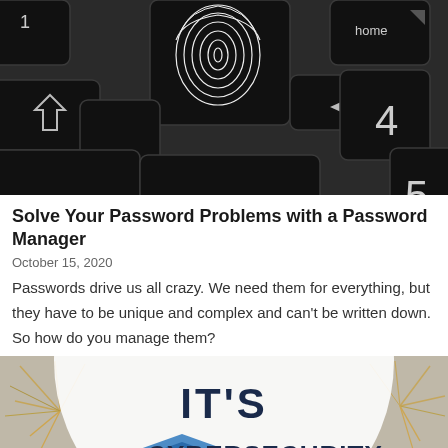[Figure (photo): Close-up photo of a dark keyboard with a fingerprint image on one of the keys, showing keys labeled home, 4, 5, and a shift key arrow symbol]
Solve Your Password Problems with a Password Manager
October 15, 2020
Passwords drive us all crazy. We need them for everything, but they have to be unique and complex and can't be written down. So how do you manage them?
[Figure (infographic): Partial infographic with text IT'S and CYBERSECURITY visible, with a shield logo and fireworks background]